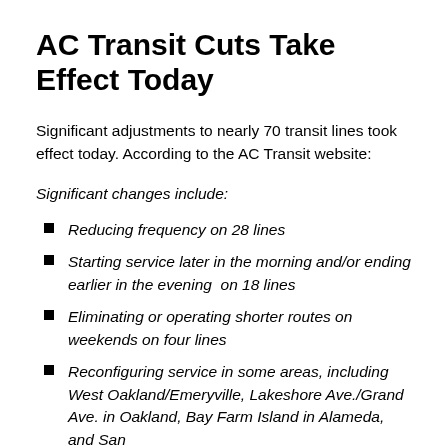AC Transit Cuts Take Effect Today
Significant adjustments to nearly 70 transit lines took effect today. According to the AC Transit website:
Significant changes include:
Reducing frequency on 28 lines
Starting service later in the morning and/or ending earlier in the evening  on 18 lines
Eliminating or operating shorter routes on weekends on four lines
Reconfiguring service in some areas, including West Oakland/Emeryville, Lakeshore Ave./Grand Ave. in Oakland, Bay Farm Island in Alameda, and San